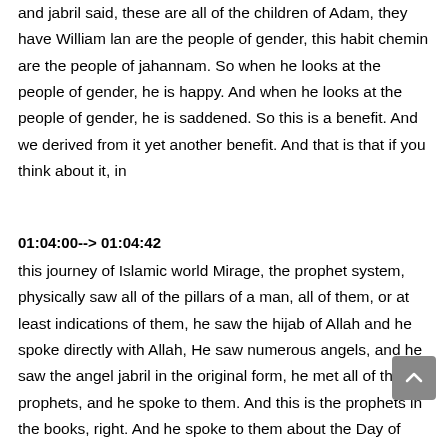and jabril said, these are all of the children of Adam, they have William lan are the people of gender, this habit chemin are the people of jahannam. So when he looks at the people of gender, he is happy. And when he looks at the people of gender, he is saddened. So this is a benefit. And we derived from it yet another benefit. And that is that if you think about it, in
01:04:00--> 01:04:42
this journey of Islamic world Mirage, the prophet system, physically saw all of the pillars of a man, all of them, or at least indications of them, he saw the hijab of Allah and he spoke directly with Allah, He saw numerous angels, and he saw the angel jabril in the original form, he met all of the prophets, and he spoke to them. And this is the prophets in the books, right. And he spoke to them about the Day of Judgment. And he spoke to them about the signs of the Day of